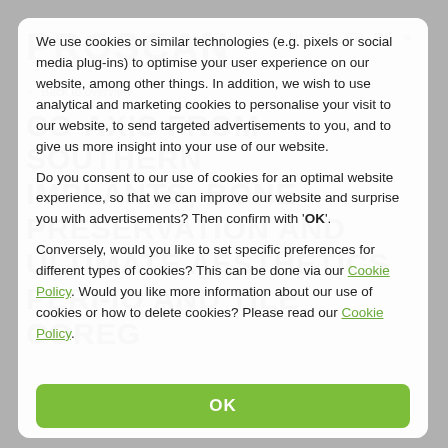[Figure (screenshot): Cookie consent modal overlay on top of a website (Proscan) with watermark headings in background. The modal contains three paragraphs of cookie policy text and an OK button at the bottom.]
We use cookies or similar technologies (e.g. pixels or social media plug-ins) to optimise your user experience on our website, among other things. In addition, we wish to use analytical and marketing cookies to personalise your visit to our website, to send targeted advertisements to you, and to give us more insight into your use of our website.
Do you consent to our use of cookies for an optimal website experience, so that we can improve our website and surprise you with advertisements? Then confirm with 'OK'.
Conversely, would you like to set specific preferences for different types of cookies? This can be done via our Cookie Policy. Would you like more information about our use of cookies or how to delete cookies? Please read our Cookie Policy.